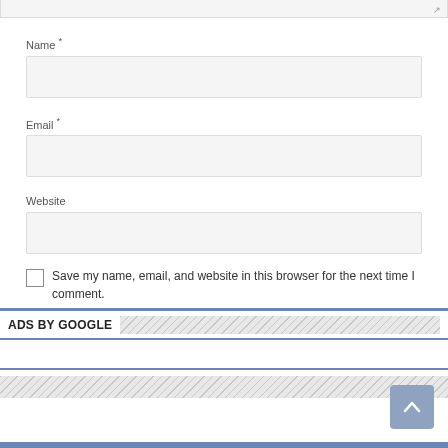[Figure (screenshot): Top of a comment form showing the bottom edge of a textarea with resize handle]
Name *
[Figure (screenshot): Name text input field (empty, light gray background)]
Email *
[Figure (screenshot): Email text input field (empty, light gray background)]
Website
[Figure (screenshot): Website text input field (empty, light gray background)]
Save my name, email, and website in this browser for the next time I comment.
Post Comment
ADS BY GOOGLE
[Figure (screenshot): Google Ads placeholder area with blue border stripes]
[Figure (screenshot): Hatched footer area with scroll-to-top button]